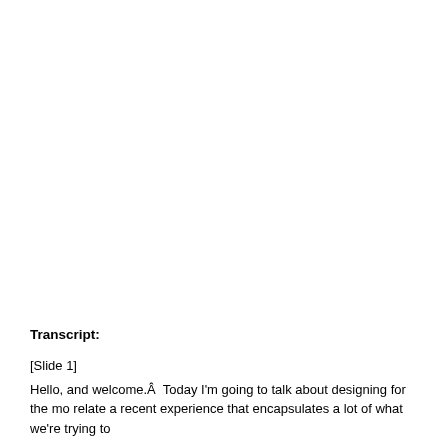Transcript:
[Slide 1]
Hello, and welcome.Â  Today I’m going to talk about designing for the mo relate a recent experience that encapsulates a lot of what we’re trying to